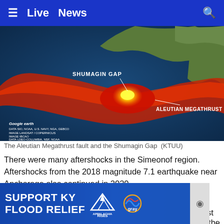≡  Live  News  🔍
[Figure (map): Satellite/Google Earth map showing the Aleutian Peninsula of Alaska, with a red arc highlighting the Aleutian Megathrust Fault zone, and a bright yellow glow marking the Shumagin Gap. White labels read 'SHUMAGIN GAP' and 'ALEUTIAN MEGATHRUST FAULT'. Bottom-left corner shows Google Earth data attribution text.]
The Aleutian Megathrust fault and the Shumagin Gap  (KTUU)
There were many aftershocks in the Simeonof region. Aftershocks from the 2018 magnitude 7.1 earthquake near Anchorage also continued in 2020.
According to the review, there was an average of 26 aftershocks from the Nov. 30, 2018 quake each week last year. The highest was 54 on Nov. 7, 2020.
About … the
[Figure (infographic): Advertisement banner reading 'SUPPORT KY FLOOD RELIEF' in large white bold text on blue background, with Appalachia Rises mountain logo and gray television logo on the right.]